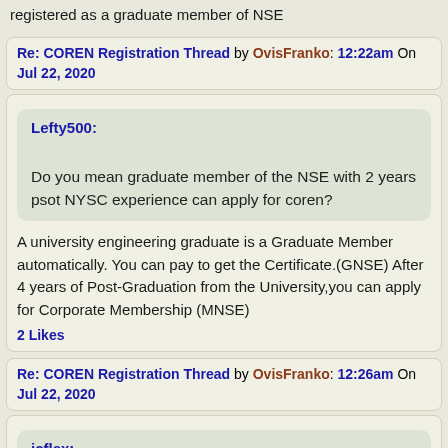registered as a graduate member of NSE
Re: COREN Registration Thread by OvisFranko: 12:22am On Jul 22, 2020
Lefty500:

Do you mean graduate member of the NSE with 2 years psot NYSC experience can apply for coren?
A university engineering graduate is a Graduate Member automatically. You can pay to get the Certificate.(GNSE) After 4 years of Post-Graduation from the University,you can apply for Corporate Membership (MNSE)
2 Likes
Re: COREN Registration Thread by OvisFranko: 12:26am On Jul 22, 2020
jcflex: